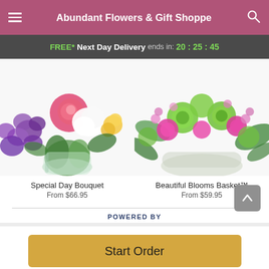Abundant Flowers & Gift Shoppe
FREE* Next Day Delivery ends in: 20:25:45
[Figure (photo): Flower bouquet with purple orchids, pink roses, white lilies and yellow flowers in a glass vase — Special Day Bouquet]
[Figure (photo): Colorful flower basket with green spider mums, pink carnations, and pink waxflower — Beautiful Blooms Basket]
Special Day Bouquet
From $66.95
Beautiful Blooms Basket™
From $59.95
POWERED BY
Start Order